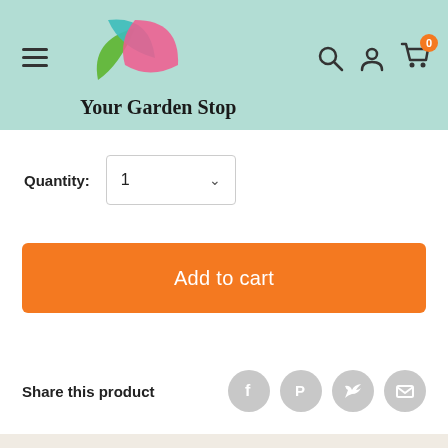[Figure (logo): Your Garden Stop logo with overlapping leaf/petal shapes in teal, green, and pink]
Your Garden Stop
Quantity: 1
Add to cart
Share this product